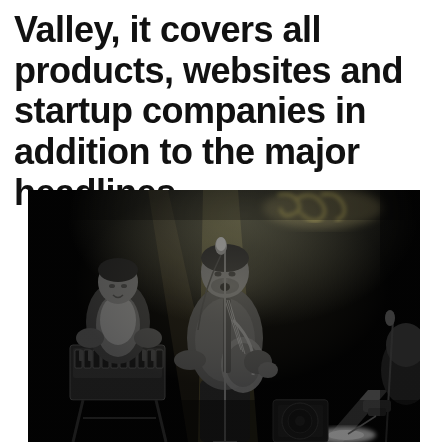Valley, it covers all products, websites and startup companies in addition to the major headlines.
[Figure (photo): Black and white concert photo showing a musician playing guitar and singing into a microphone at center stage under dramatic spotlights. A keyboard player is visible to the left, and another musician is partially visible at the right edge. Stage lights create beams through the dark venue.]